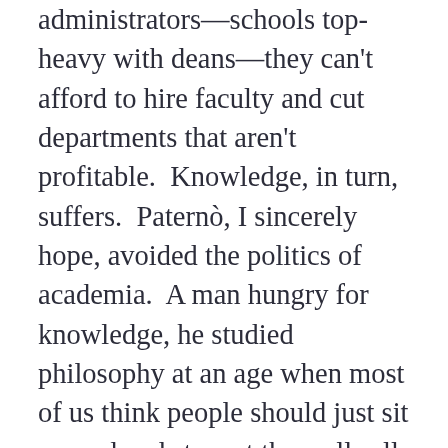administrators—schools top-heavy with deans—they can't afford to hire faculty and cut departments that aren't profitable.  Knowledge, in turn, suffers.  Paternò, I sincerely hope, avoided the politics of academia.  A man hungry for knowledge, he studied philosophy at an age when most of us think people should just sit around and stare at the walls all day.  Knowledge should never be wasted.